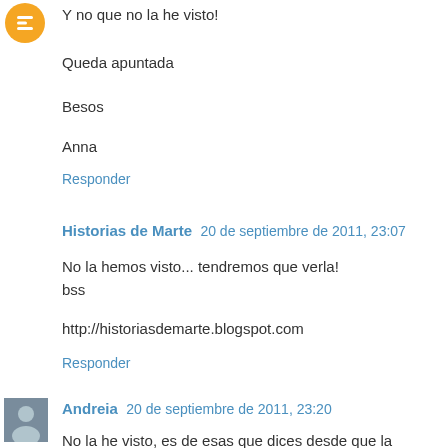[Figure (illustration): Orange circular Blogger avatar icon at top left]
Y no que no la he visto!

Queda apuntada

Besos

Anna
Responder
Historias de Marte  20 de septiembre de 2011, 23:07
No la hemos visto... tendremos que verla!
bss

http://historiasdemarte.blogspot.com
Responder
[Figure (photo): Small photo avatar of Andreia]
Andreia  20 de septiembre de 2011, 23:20
No la he visto, es de esas que dices desde que la anuncian